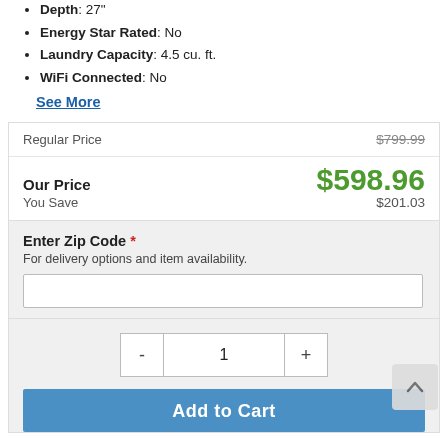Depth: 27"
Energy Star Rated: No
Laundry Capacity: 4.5 cu. ft.
WiFi Connected: No
See More
| Label | Value |
| --- | --- |
| Regular Price | $799.99 |
| Our Price | $598.96 |
| You Save | $201.03 |
Enter Zip Code * For delivery options and item availability.
1
Add to Cart